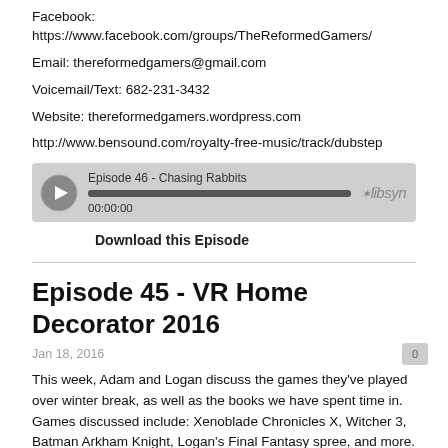Facebook: https://www.facebook.com/groups/TheReformedGamers/
Email: thereformedgamers@gmail.com
Voicemail/Text: 682-231-3432
Website: thereformedgamers.wordpress.com
http://www.bensound.com/royalty-free-music/track/dubstep
[Figure (other): Podcast audio player widget showing Episode 46 - Chasing Rabbits, with play button, progress bar, timestamp 00:00:00, and Libsyn logo]
Download this Episode
Episode 45 - VR Home Decorator 2016
Jan 18, 2016
This week, Adam and Logan discuss the games they've played over winter break, as well as the books we have spent time in. Games discussed include: Xenoblade Chronicles X, Witcher 3, Batman Arkham Knight, Logan's Final Fantasy spree, and more. For what we've been reading, Adam discusses the doctrine of adoption in relation to his family's journey towards adoption and Logan discusses what God's sovereignty means in accordance with our Imago